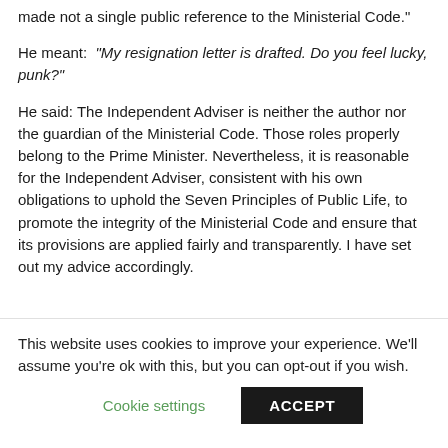made not a single public reference to the Ministerial Code."
He meant: “My resignation letter is drafted. Do you feel lucky, punk?”
He said: The Independent Adviser is neither the author nor the guardian of the Ministerial Code. Those roles properly belong to the Prime Minister. Nevertheless, it is reasonable for the Independent Adviser, consistent with his own obligations to uphold the Seven Principles of Public Life, to promote the integrity of the Ministerial Code and ensure that its provisions are applied fairly and transparently. I have set out my advice accordingly.
This website uses cookies to improve your experience. We'll assume you're ok with this, but you can opt-out if you wish.
Cookie settings
ACCEPT